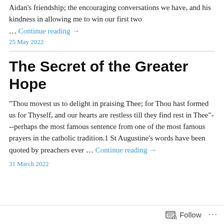Aidan's friendship; the encouraging conversations we have, and his kindness in allowing me to win our first two …
Continue reading →
25 May 2022
The Secret of the Greater Hope
"Thou movest us to delight in praising Thee; for Thou hast formed us for Thyself, and our hearts are restless till they find rest in Thee"---perhaps the most famous sentence from one of the most famous prayers in the catholic tradition.1 St Augustine's words have been quoted by preachers ever … Continue reading →
31 March 2022